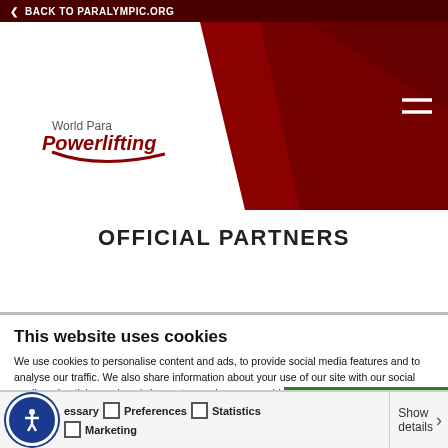BACK TO PARALYMPIC.ORG
[Figure (logo): World Para Powerlifting logo on white background with red diagonal hero banner]
OFFICIAL PARTNERS
This website uses cookies
We use cookies to personalise content and ads, to provide social media features and to analyse our traffic. We also share information about your use of our site with our social media, advertising and analytics partners who may combine it with other information that you've provided to them or that they've collected from your use of their services.
Allow all cookies | Allow selection | Use necessary cookies
essary  Preferences  Statistics  Show details  Marketing